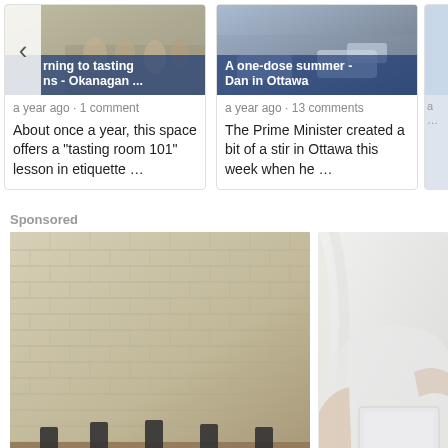[Figure (screenshot): Article card: truncated headline 'rning to tasting ns - Okanagan ...' with navigation arrow, meta 'a year ago · 1 comment', snippet 'About once a year, this space offers a "tasting room 101" lesson in etiquette ...']
[Figure (screenshot): Article card: headline 'A one-dose summer - Dan in Ottawa', meta 'a year ago · 13 comments', snippet 'The Prime Minister created a bit of a stir in Ottawa this week when he ...']
[Figure (screenshot): Partial article card visible at right edge]
Sponsored
[Figure (photo): Construction/foundation photo showing a brick wall with metal underpinning supports and disturbed earth]
[Figure (photo): Person in white top holding or looking at something, partial view at right edge]